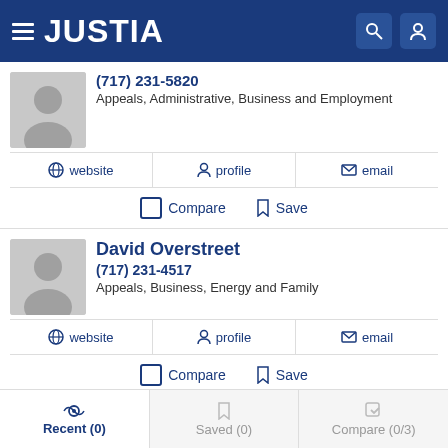JUSTIA
(717) 231-5820
Appeals, Administrative, Business and Employment
website  profile  email
Compare  Save
David Overstreet
(717) 231-4517
Appeals, Business, Energy and Family
website  profile  email
Compare  Save
Recent (0)  Saved (0)  Compare (0/3)